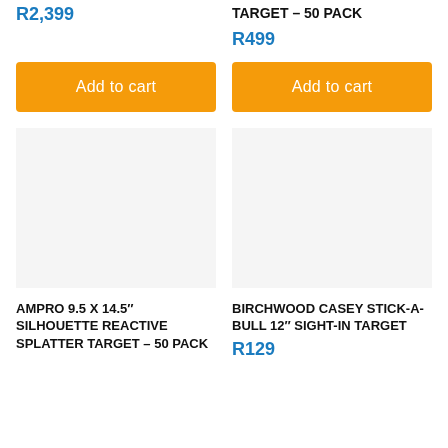R2,399
TARGET – 50 PACK
R499
Add to cart
Add to cart
[Figure (other): Product image placeholder left - empty white/grey area]
[Figure (other): Product image placeholder right - empty white/grey area]
AMPRO 9.5 X 14.5″ SILHOUETTE REACTIVE SPLATTER TARGET – 50 PACK
BIRCHWOOD CASEY STICK-A-BULL 12″ SIGHT-IN TARGET
R129